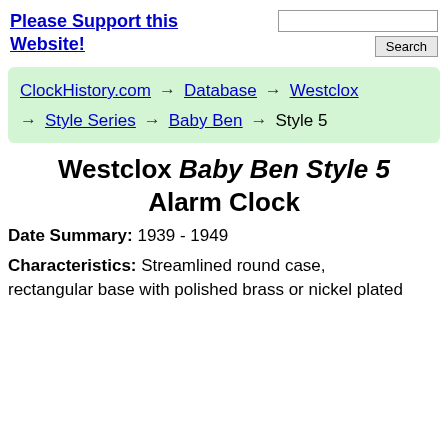Please Support this Website!
ClockHistory.com → Database → Westclox → Style Series → Baby Ben → Style 5
Westclox Baby Ben Style 5 Alarm Clock
Date Summary: 1939 - 1949
Characteristics: Streamlined round case, rectangular base with polished brass or nickel plated